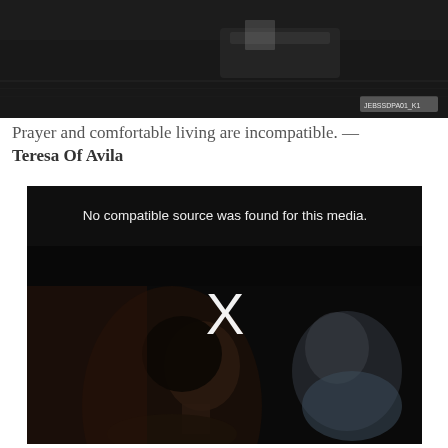[Figure (photo): Dark aerial or overhead photo of a boat or barge on water, with a small watermark/logo in the bottom right corner.]
Prayer and comfortable living are incompatible. — Teresa Of Avila
[Figure (screenshot): Video player screenshot showing 'No compatible source was found for this media.' message overlaid on a dark image of people sitting in what appears to be a cinema or theater. A large white X is shown in the center of the video player.]